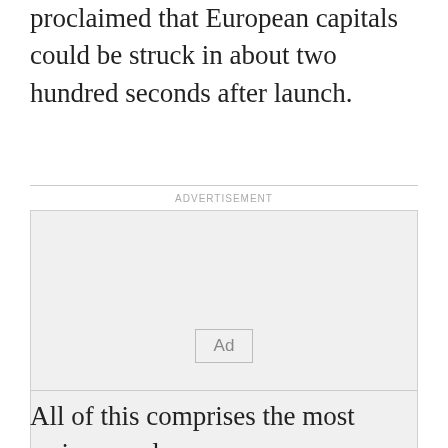proclaimed that European capitals could be struck in about two hundred seconds after launch.
[Figure (other): Advertisement placeholder box with 'Ad' label]
All of this comprises the most serious nuclear